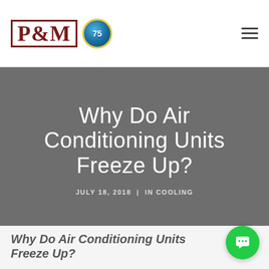P&M [logo with 75th anniversary badge] | hamburger menu
Why Do Air Conditioning Units Freeze Up?
JULY 18, 2018 | IN COOLING
Why Do Air Conditioning Units Freeze Up?